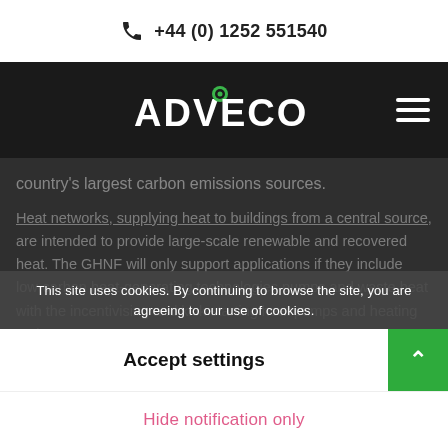+44 (0) 1252 551540
[Figure (logo): Adveco company logo in white on dark background]
country's largest carbon emissions sources.
Heat networks, supplying heat to buildings from a central source, are intended to provide large-scale renewable and recovered heat. The GHNF will only support applications if they include low-carbon heat-generating technologies pumps and waste heat with the incentivising and kick starting heat pumps and heating options
This site uses cookies. By continuing to browse the site, you are agreeing to our use of cookies.
Accept settings
Hide notification only